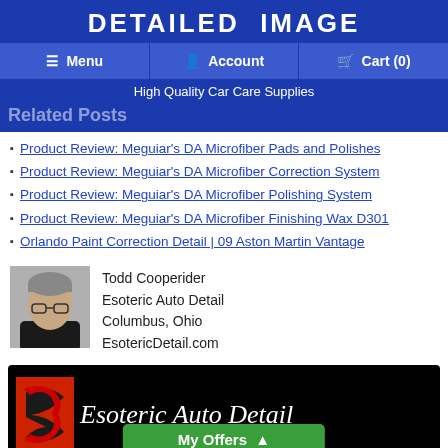DETAILED IMAGE
≡ Menu | Account | Cart (0)
High Quality Car Care Supplies
Related Posts
Product Review: Meguiar's DA Microfiber Pads and Polishes
Product Review: Meguiar's DA Microfiber Correction System
Product Review: Meguiar's DA Microfiber Polishing System
Product Review: Meguiar's DA Microfiber Finishing Wax D301
Orlando Paint Correction Detail | 09 Aston Martin Vantage
Todd Cooperider
Esoteric Auto Detail
Columbus, Ohio
EsotericDetail.com
[Figure (logo): Esoteric Auto Detail banner with logo and My Offers button]